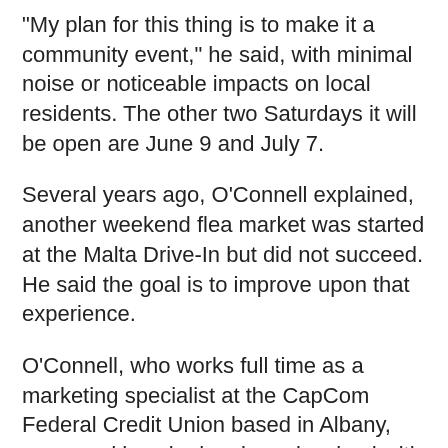“My plan for this thing is to make it a community event,” he said, with minimal noise or noticeable impacts on local residents. The other two Saturdays it will be open are June 9 and July 7.
Several years ago, O’Connell explained, another weekend flea market was started at the Malta Drive-In but did not succeed. He said the goal is to improve upon that experience.
O’Connell, who works full time as a marketing specialist at the CapCom Federal Credit Union based in Albany, conveyed how he has been involved with flea markets in his spare time for more than 20 years.
This new plan in Malta has received a “a